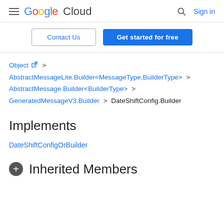Google Cloud — Sign in
Contact Us | Get started for free
Object > AbstractMessageLite.Builder<MessageType,BuilderType> > AbstractMessage.Builder<BuilderType> > GeneratedMessageV3.Builder > DateShiftConfig.Builder
Implements
DateShiftConfigOrBuilder
Inherited Members